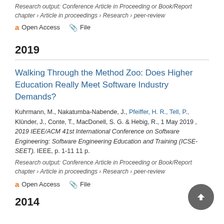Research output: Conference Article in Proceeding or Book/Report chapter › Article in proceedings › Research › peer-review
Open Access   File
2019
Walking Through the Method Zoo: Does Higher Education Really Meet Software Industry Demands?
Kuhrmann, M., Nakatumba-Nabende, J., Pfeiffer, H. R., Tell, P., Klünder, J., Conte, T., MacDonell, S. G. & Hebig, R., 1 May 2019, 2019 IEEE/ACM 41st International Conference on Software Engineering: Software Engineering Education and Training (ICSE-SEET). IEEE, p. 1-11 11 p.
Research output: Conference Article in Proceeding or Book/Report chapter › Article in proceedings › Research › peer-review
Open Access   File
2014